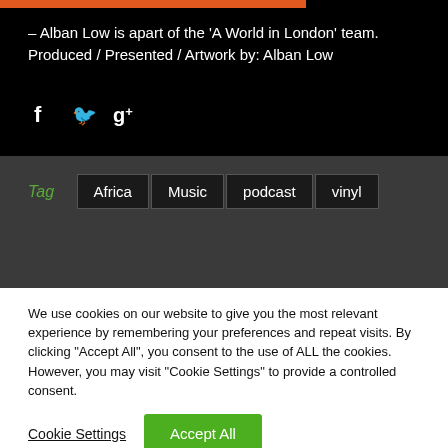– Alban Low is apart of the 'A World in London' team. Produced / Presented / Artwork by: Alban Low
[Figure (other): Social media icons: Facebook (f), Twitter (bird), Google+ (g+)]
Tag  Africa  Music  podcast  vinyl
We use cookies on our website to give you the most relevant experience by remembering your preferences and repeat visits. By clicking "Accept All", you consent to the use of ALL the cookies. However, you may visit "Cookie Settings" to provide a controlled consent.
Cookie Settings  Accept All